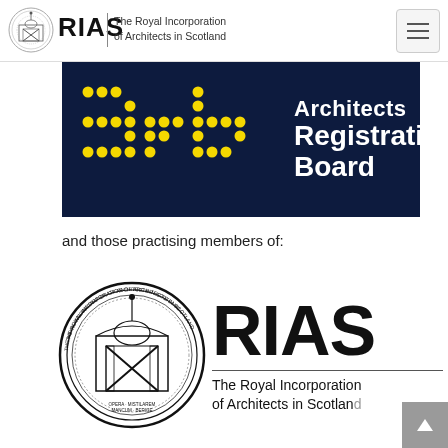[Figure (logo): RIAS page header with seal logo, RIAS name, The Royal Incorporation of Architects in Scotland tagline, and hamburger menu button]
[Figure (logo): ARB Architects Registration Board logo banner — dark navy background with yellow dot-matrix 'arb' letters and white 'Architects Registration Board' text]
and those practising members of:
[Figure (logo): RIAS large logo — circular seal of The Royal Incorporation of Architects in Scotland on the left, large 'RIAS' text with 'The Royal Incorporation of Architects in Scotland' subtitle on the right]